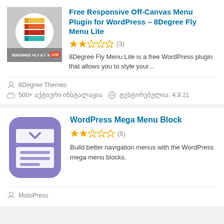[Figure (illustration): Plugin logo for 8Degree Fly Menu Lite – colorful stacked bars on white circle over grey background with text '8DEGREE FLY MENU' and orange LITE badge]
Free Responsive Off-Canvas Menu Plugin for WordPress – 8Degree Fly Menu Lite
★★☆☆☆ (3)
8Degree Fly Menu Lite is a free WordPress plugin that allows you to style your...
8Degree Themes
500+ აქტიური ინსტალაცია  ტესტირებულია: 4.9.21
[Figure (illustration): Plugin logo for WordPress Mega Menu Block – purple rounded square with white menu icon (dropdown and lines)]
WordPress Mega Menu Block
★★☆☆☆ (5)
Build better navigation menus with the WordPress mega menu blocks.
MotoPress